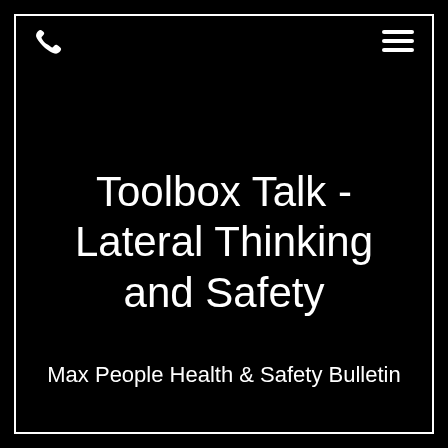Toolbox Talk - Lateral Thinking and Safety
Max People Health & Safety Bulletin